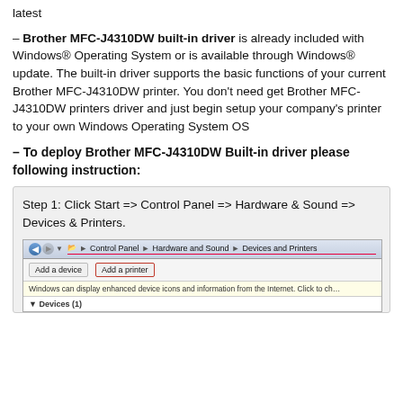latest
– Brother MFC-J4310DW built-in driver is already included with Windows® Operating System or is available through Windows® update. The built-in driver supports the basic functions of your current Brother MFC-J4310DW printer. You don't need get Brother MFC-J4310DW printers driver and just begin setup your company's printer to your own Windows Operating System OS
– To deploy Brother MFC-J4310DW Built-in driver please following instruction:
Step 1: Click Start => Control Panel => Hardware & Sound => Devices & Printers.
[Figure (screenshot): Windows 7 Control Panel screenshot showing the breadcrumb navigation: Control Panel > Hardware and Sound > Devices and Printers, with toolbar buttons 'Add a device' and 'Add a printer' (highlighted with red border), an info bar about enhanced device icons, and 'Devices (1)' section header.]